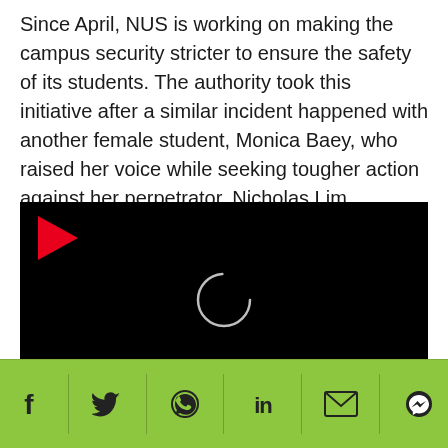Since April, NUS is working on making the campus security stricter to ensure the safety of its students. The authority took this initiative after a similar incident happened with another female student, Monica Baey, who raised her voice while seeking tougher action against her perpetrator, Nicholas Lim.
[Figure (screenshot): Black video player with red play button icon in upper left and a white loading spinner circle in the center]
[Figure (other): Green social share bar with icons: Facebook, Twitter, WhatsApp, LinkedIn, Email, Messenger]